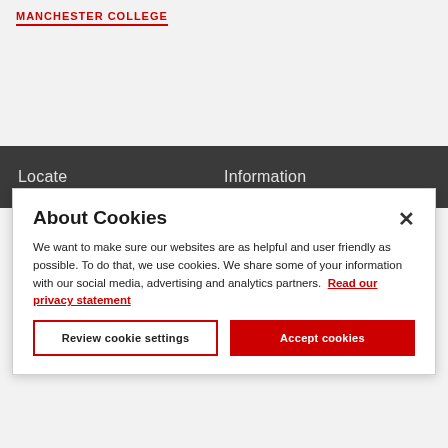MANCHESTER COLLEGE
Locate        Information
About Cookies
We want to make sure our websites are as helpful and user friendly as possible. To do that, we use cookies. We share some of your information with our social media, advertising and analytics partners. Read our privacy statement
Review cookie settings
Accept cookies